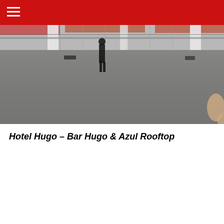[Figure (photo): Interior photo of a large open rooftop or event space with reflective concrete floors, white cylindrical columns, floor-to-ceiling glass windows overlooking brick buildings outside, and a lone person standing in the middle distance. A partial view of hands appears at the bottom right edge.]
Hotel Hugo – Bar Hugo & Azul Rooftop